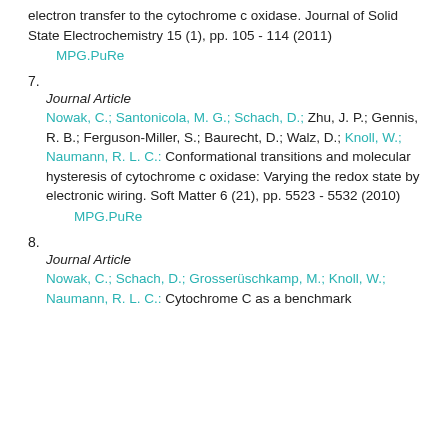electron transfer to the cytochrome c oxidase. Journal of Solid State Electrochemistry 15 (1), pp. 105 - 114 (2011)
MPG.PuRe
7.
Journal Article
Nowak, C.; Santonicola, M. G.; Schach, D.; Zhu, J. P.; Gennis, R. B.; Ferguson-Miller, S.; Baurecht, D.; Walz, D.; Knoll, W.; Naumann, R. L. C.: Conformational transitions and molecular hysteresis of cytochrome c oxidase: Varying the redox state by electronic wiring. Soft Matter 6 (21), pp. 5523 - 5532 (2010)
MPG.PuRe
8.
Journal Article
Nowak, C.; Schach, D.; Grosserüschkamp, M.; Knoll, W.; Naumann, R. L. C.: Cytochrome C as a benchmark